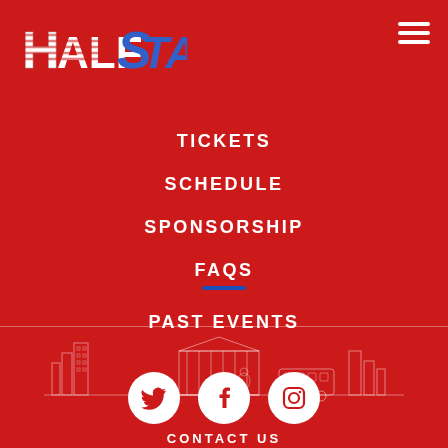[Figure (logo): HalfStack logo in stylized text with red and white colors]
TICKETS
SCHEDULE
SPONSORSHIP
FAQS
PAST EVENTS
[Figure (illustration): City skyline illustration in outline style on red background]
[Figure (infographic): Social media icons: Twitter, Facebook, Instagram in white circles]
CONTACT US